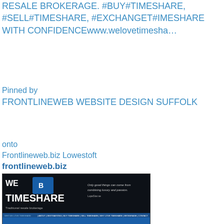RESALE BROKERAGE. #BUY#TIMESHARE, #SELL#TIMESHARE, #EXCHANGET#IMESHARE WITH CONFIDENCEwww.welovetimesha…
Pinned by
FRONTLINEWEB WEBSITE DESIGN SUFFOLK
onto
Frontlineweb.biz Lowestoft
frontlineweb.biz
[Figure (screenshot): Screenshot of WE TIMESHARE website showing dark background with 'WE TIMESHARE' text, logo, tagline 'Only good things can come from combining luxury and passion.' and navigation bar]